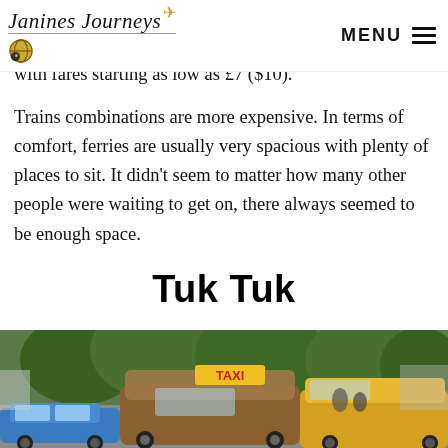Janines Journeys — MENU
with fares starting as low as £7 ($10).
Trains combinations are more expensive. In terms of comfort, ferries are usually very spacious with plenty of places to sit. It didn't seem to matter how many other people were waiting to get on, there always seemed to be enough space.
Tuk Tuk
[Figure (photo): Street scene with tuk-tuks and a taxi sign visible, trees in background, busy road with vehicles including a blue car]